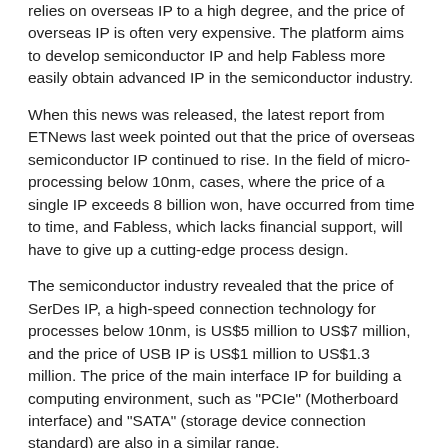relies on overseas IP to a high degree, and the price of overseas IP is often very expensive. The platform aims to develop semiconductor IP and help Fabless more easily obtain advanced IP in the semiconductor industry.
When this news was released, the latest report from ETNews last week pointed out that the price of overseas semiconductor IP continued to rise. In the field of micro-processing below 10nm, cases, where the price of a single IP exceeds 8 billion won, have occurred from time to time, and Fabless, which lacks financial support, will have to give up a cutting-edge process design.
The semiconductor industry revealed that the price of SerDes IP, a high-speed connection technology for processes below 10nm, is US$5 million to US$7 million, and the price of USB IP is US$1 million to US$1.3 million. The price of the main interface IP for building a computing environment, such as "PCIe" (Motherboard interface) and "SATA" (storage device connection standard) are also in a similar range.
The most expensive IP is owned by global IP companies such as ARM and Synopsys. In order to provide stable services,